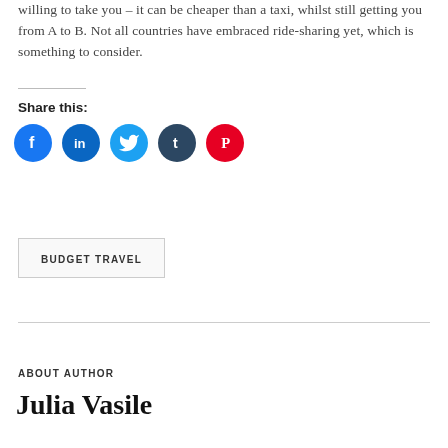willing to take you – it can be cheaper than a taxi, whilst still getting you from A to B. Not all countries have embraced ride-sharing yet, which is something to consider.
Share this:
[Figure (infographic): Social media share buttons: Facebook (blue circle), LinkedIn (blue circle), Twitter (light blue circle), Tumblr (dark blue circle), Pinterest (red circle)]
BUDGET TRAVEL
ABOUT AUTHOR
Julia Vasile